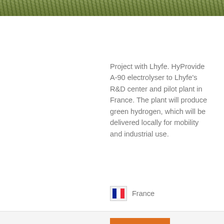[Figure (photo): Outdoor photo showing green grass/vegetation with what appears to be a fence or structure in the background]
Project with Lhyfe. HyProvide A-90 electrolyser to Lhyfe's R&D center and pilot plant in France. The plant will produce green hydrogen, which will be delivered locally for mobility and industrial use.
France
Read more →